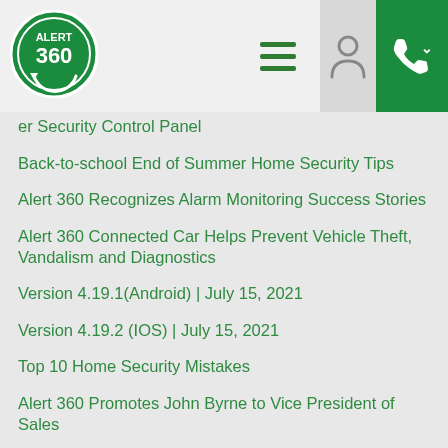[Figure (logo): Alert 360 logo — green circle with white text ALERT 360 and circular arrow]
er Security Control Panel
Back-to-school End of Summer Home Security Tips
Alert 360 Recognizes Alarm Monitoring Success Stories
Alert 360 Connected Car Helps Prevent Vehicle Theft, Vandalism and Diagnostics
Version 4.19.1(Android) | July 15, 2021
Version 4.19.2 (IOS) | July 15, 2021
Top 10 Home Security Mistakes
Alert 360 Promotes John Byrne to Vice President of Sales
Alert 360 Car OBD GPS Trackers
Kansas City Local Security Company Alert 360 Recognizes Success Stories
Alert 360 Home Security Dallas Recognizes Success Stories from actual events